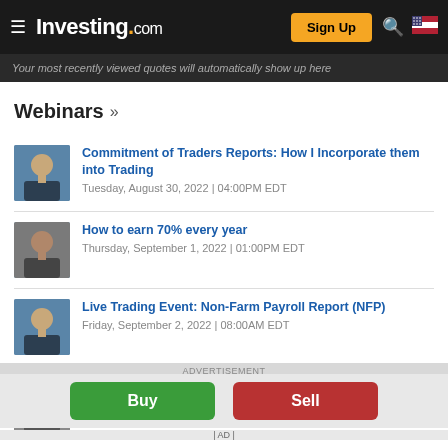Investing.com — Sign Up
Your most recently viewed quotes will automatically show up here
Webinars »
Commitment of Traders Reports: How I Incorporate them into Trading
Tuesday, August 30, 2022 | 04:00PM EDT
How to earn 70% every year
Thursday, September 1, 2022 | 01:00PM EDT
Live Trading Event: Non-Farm Payroll Report (NFP)
Friday, September 2, 2022 | 08:00AM EDT
Candlestick Charting, Trading & Strategies
Tuesday, September 6, 2022 | 01:00PM EDT
ADVERTISEMENT
Buy
Sell
| AD |